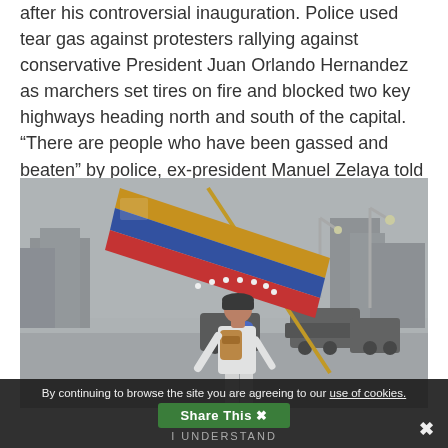after his controversial inauguration. Police used tear gas against protesters rallying against conservative President Juan Orlando Hernandez as marchers set tires on fire and blocked two key highways heading north and south of the capital. “There are people who have been gassed and beaten” by police, ex-president Manuel Zelaya told UNE TV.
[Figure (photo): A person wearing a white t-shirt, dark cap and backpack holds a large Venezuelan flag on a pole in a hazy, smoky street scene. Military vehicles and buildings are visible in the background.]
By continuing to browse the site you are agreeing to our use of cookies.